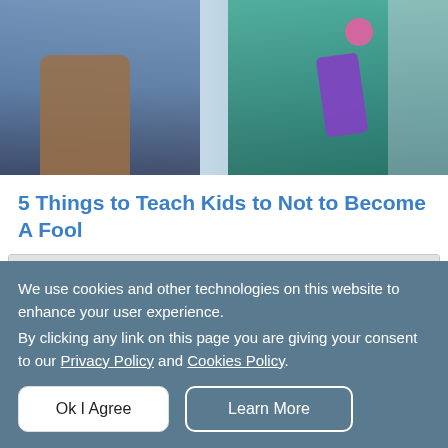[Figure (photo): Two people in what appears to be a store or classroom setting; one person in a light blue top holding a purple item, another person in denim with a brown bag]
5 Things to Teach Kids to Not to Become A Fool
Table of Content
1.Courage to Say "No"
We use cookies and other technologies on this website to enhance your user experience.
By clicking any link on this page you are giving your consent to our Privacy Policy and Cookies Policy.
Ok I Agree
Learn More